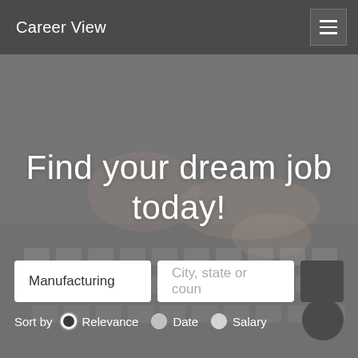Career View
[Figure (screenshot): Hero background showing a blurred/darkened photo of hands typing on a keyboard]
Find your dream job today!
Manufacturing  [input field]  City, state or coun [input field]  [search button]
Sort by  Relevance  Date  Salary